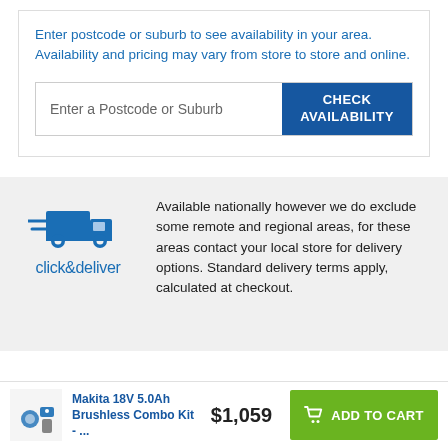Enter postcode or suburb to see availability in your area. Availability and pricing may vary from store to store and online.
Enter a Postcode or Suburb
CHECK AVAILABILITY
[Figure (logo): Click and deliver logo with truck icon]
Available nationally however we do exclude some remote and regional areas, for these areas contact your local store for delivery options. Standard delivery terms apply, calculated at checkout.
Makita 18V 5.0Ah Brushless Combo Kit - ...
$1,059
ADD TO CART